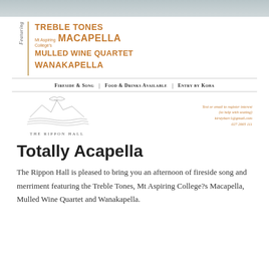[Figure (photo): Top photo strip of an event venue or outdoor scene in muted grey-blue tones]
Featuring TREBLE TONES Mt Aspiring College's MACAPELLA MULLED WINE QUARTET WANAKAPELLA
Fireside & Song | Food & Drinks Available | Entry by Koha
[Figure (logo): The Rippon Hall logo — a stylised bird/landscape illustration with text THE RIPPON HALL]
Text or email to register interest (to help with seating) kirstybarr1@gmail.com 027 2005 111
Totally Acapella
The Rippon Hall is pleased to bring you an afternoon of fireside song and merriment featuring the Treble Tones, Mt Aspiring College?s Macapella, Mulled Wine Quartet and Wanakapella.